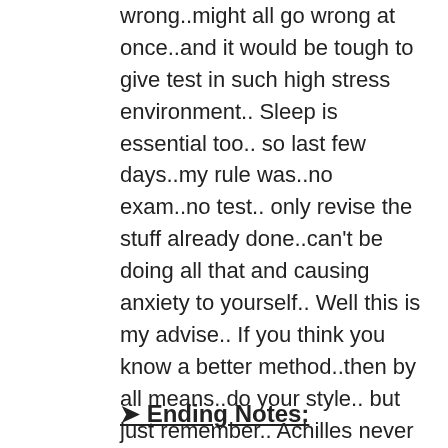wrong..might all go wrong at once..and it would be tough to give test in such high stress environment.. Sleep is essential too.. so last few days..my rule was..no exam..no test.. only revise the stuff already done..can't be doing all that and causing anxiety to yourself.. Well this is my advise.. If you think you know a better method..then by all means..do your style.. but just remember.. Achilles never bench pressed a day before going to war.. you cant grow muscle at last moment..its all long term kinda thing.. Do all NBME along with answers and explanations in advance ! 🙂
➤ Ending Notes: